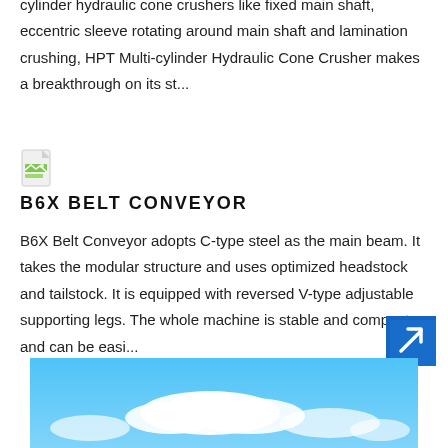Based on some design principles of traditional multi-cylinder hydraulic cone crushers like fixed main shaft, eccentric sleeve rotating around main shaft and lamination crushing, HPT Multi-cylinder Hydraulic Cone Crusher makes a breakthrough on its st...
[Figure (illustration): Small document/file icon with green and white coloring]
B6X BELT CONVEYOR
B6X Belt Conveyor adopts C-type steel as the main beam. It takes the modular structure and uses optimized headstock and tailstock. It is equipped with reversed V-type adjustable supporting legs. The whole machine is stable and compact and can be easi...
[Figure (illustration): Blue arrow icon pointing upper-right, in a square button]
[Figure (photo): Photo of blue sky with white clouds]